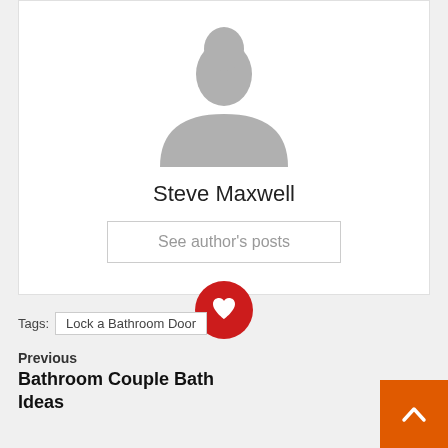[Figure (illustration): Gray silhouette avatar of a person (default user profile image) centered in a white card]
Steve Maxwell
See author's posts
[Figure (logo): Red circular social media icon with a white heart/face symbol]
Tags: Lock a Bathroom Door
Previous
Bathroom Couple Bath Ideas
[Figure (other): Orange square button with a white upward chevron arrow (scroll to top)]